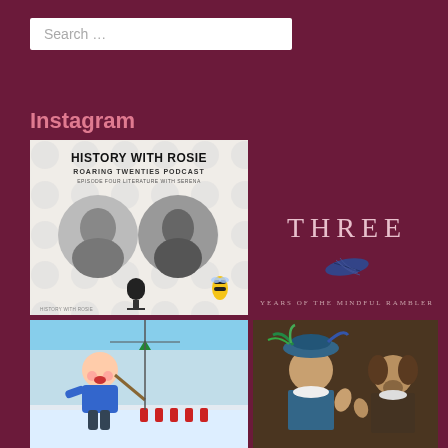Search ...
Instagram
[Figure (photo): History with Rosie podcast cover: Roaring Twenties Podcast, Episode Four Literature with Serena. Two circular black-and-white portraits of women, a microphone, and a bee figure on a polka-dot background.]
[Figure (photo): Book cover with text 'THREE' in large spaced letters and a dark feather illustration, with subtitle 'YEARS OF THE MINDFUL RAMBLER' on a dark burgundy background.]
[Figure (illustration): Children's illustration of a boy in a blue shirt playing a game on an ice rink, with small red figures on the ice.]
[Figure (photo): Movie still of two men in period costume, one wearing an elaborate feathered hat, in conversation.]